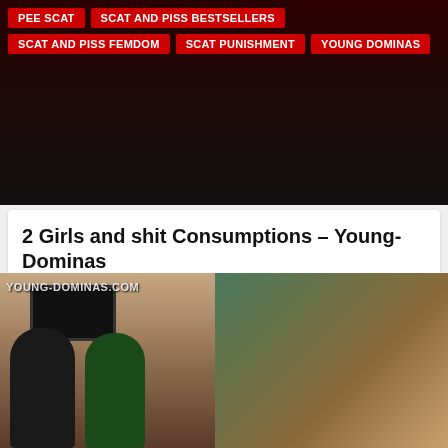PEE SCAT
SCAT AND PISS BESTSELLERS
SCAT AND PISS FEMDOM
SCAT PUNISHMENT
YOUNG DOMINAS
2 Girls and shit Consumptions – Young-Dominas
April 30, 2021 / gladitor5
Two ladies rests on the man's experience, producing eat her asshole! Not lengthy after, she requires…
[Figure (photo): Two-panel video thumbnail: left panel shows two women in a room with a TV and fireplace, right panel shows a close-up scene]